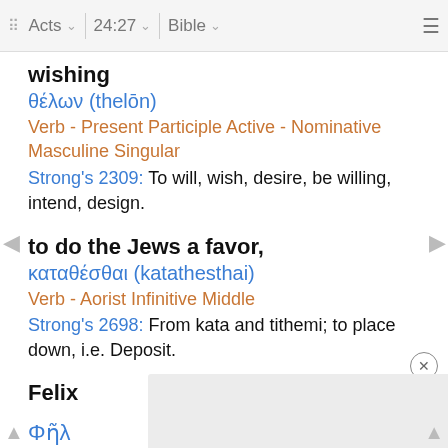Acts 24:27 Bible
wishing
θέλων (thelōn)
Verb - Present Participle Active - Nominative Masculine Singular
Strong's 2309: To will, wish, desire, be willing, intend, design.
to do the Jews a favor,
καταθέσθαι (katathesthai)
Verb - Aorist Infinitive Middle
Strong's 2698: From kata and tithemi; to place down, i.e. Deposit.
Felix
Φῆλ